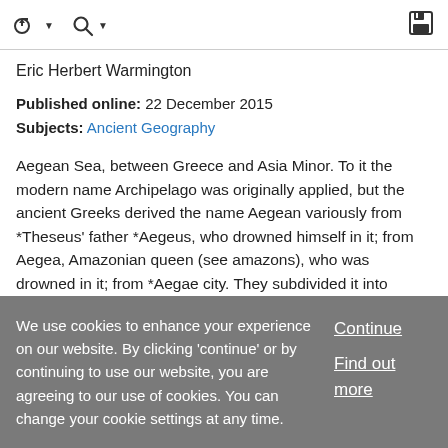toolbar with navigation and save icons
Eric Herbert Warmington
Published online: 22 December 2015
Subjects: Ancient Geography
Aegean Sea, between Greece and Asia Minor. To it the modern name Archipelago was originally applied, but the ancient Greeks derived the name Aegean variously from *Theseus' father *Aegeus, who drowned himself in it; from Aegea, Amazonian queen (see amazons), who was drowned in it; from *Aegae city. They subdivided it into Thracian, along Thrace and Macedonia to the north coast of *Euboea;
We use cookies to enhance your experience on our website. By clicking 'continue' or by continuing to use our website, you are agreeing to our use of cookies. You can change your cookie settings at any time.
Continue
Find out more